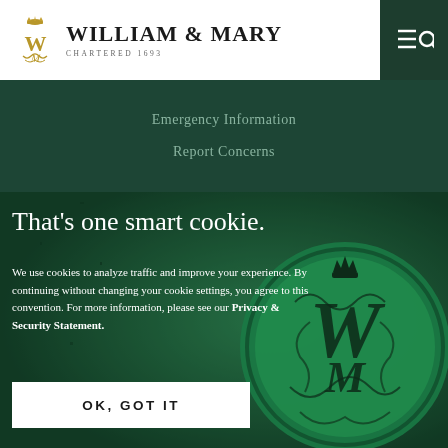William & Mary — Chartered 1693
Emergency Information
Report Concerns
That's one smart cookie.
We use cookies to analyze traffic and improve your experience. By continuing without changing your cookie settings, you agree to this convention. For more information, please see our Privacy & Security Statement.
OK, GOT IT